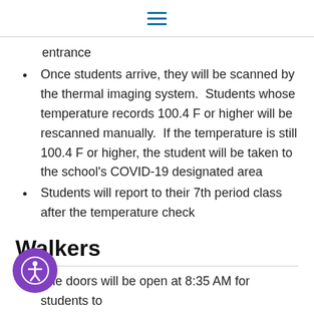[hamburger menu icon]
entrance
Once students arrive, they will be scanned by the thermal imaging system.  Students whose temperature records 100.4 F or higher will be rescanned manually.  If the temperature is still 100.4 F or higher, the student will be taken to the school's COVID-19 designated area
Students will report to their 7th period class after the temperature check
Walkers
The doors will be open at 8:35 AM for students to